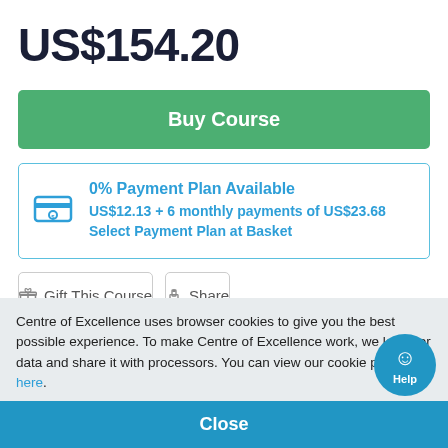US$154.20
Buy Course
0% Payment Plan Available
US$12.13 + 6 monthly payments of US$23.68
Select Payment Plan at Basket
Gift This Course
Share
Centre of Excellence uses browser cookies to give you the best possible experience. To make Centre of Excellence work, we log user data and share it with processors. You can view our cookie policy here.
Close